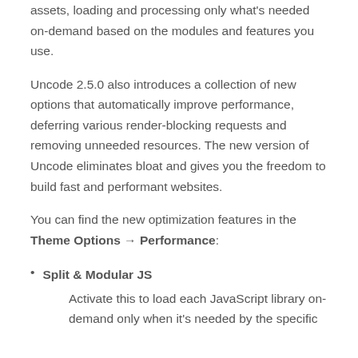assets, loading and processing only what's needed on-demand based on the modules and features you use.
Uncode 2.5.0 also introduces a collection of new options that automatically improve performance, deferring various render-blocking requests and removing unneeded resources. The new version of Uncode eliminates bloat and gives you the freedom to build fast and performant websites.
You can find the new optimization features in the Theme Options → Performance:
Split & Modular JS
Activate this to load each JavaScript library on-demand only when it's needed by the specific